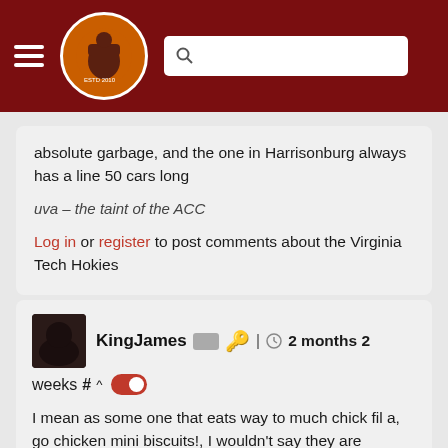The Key Play - navigation header with logo and search
absolute garbage, and the one in Harrisonburg always has a line 50 cars long
uva – the taint of the ACC
Log in or register to post comments about the Virginia Tech Hokies
KingJames | 2 months 2 weeks # ^
I mean as some one that eats way to much chick fil a, go chicken mini biscuits!, I wouldn't say they are garbage, they don't have bad service, they arent as efficient as McDonald's or Wendy's. Chickfila wants to talk, when I order, I give you